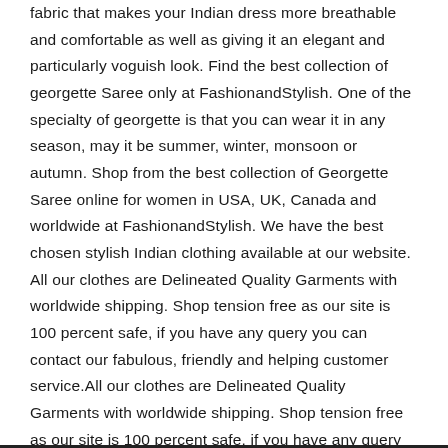fabric that makes your Indian dress more breathable and comfortable as well as giving it an elegant and particularly voguish look. Find the best collection of georgette Saree only at FashionandStylish. One of the specialty of georgette is that you can wear it in any season, may it be summer, winter, monsoon or autumn. Shop from the best collection of Georgette Saree online for women in USA, UK, Canada and worldwide at FashionandStylish. We have the best chosen stylish Indian clothing available at our website. All our clothes are Delineated Quality Garments with worldwide shipping. Shop tension free as our site is 100 percent safe, if you have any query you can contact our fabulous, friendly and helping customer service.All our clothes are Delineated Quality Garments with worldwide shipping. Shop tension free as our site is 100 percent safe, if you have any query you can contact our fabulous, friendly and helping customer service.